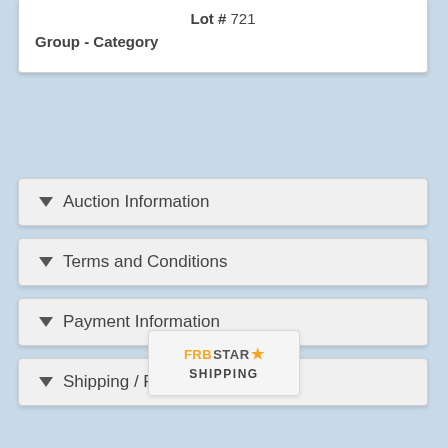Lot # 721
Group - Category
Auction Information
Terms and Conditions
Payment Information
Shipping / Pick Up
[Figure (logo): FRBSTAR logo with star icon and SHIPPING label below]